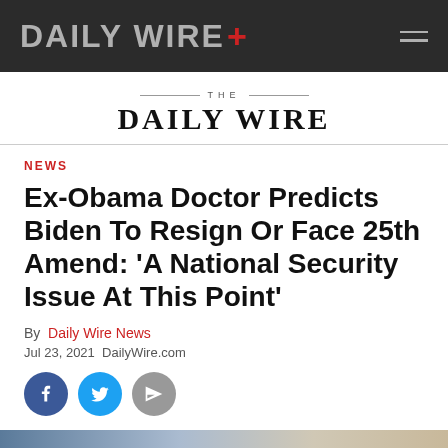DAILY WIRE+
THE DAILY WIRE
NEWS
Ex-Obama Doctor Predicts Biden To Resign Or Face 25th Amend: 'A National Security Issue At This Point'
By Daily Wire News
Jul 23, 2021  DailyWire.com
[Figure (other): Social share buttons: Facebook, Twitter, Send]
[Figure (photo): Article photo showing a person, partially visible at bottom of page]